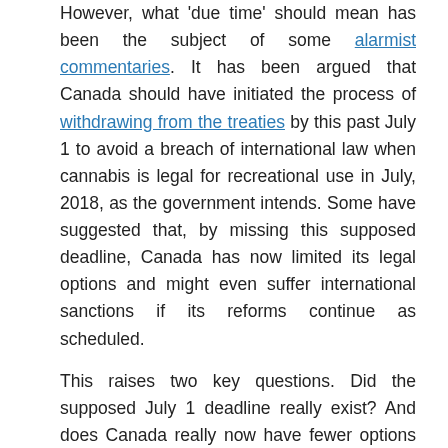However, what 'due time' should mean has been the subject of some alarmist commentaries. It has been argued that Canada should have initiated the process of withdrawing from the treaties by this past July 1 to avoid a breach of international law when cannabis is legal for recreational use in July, 2018, as the government intends. Some have suggested that, by missing this supposed deadline, Canada has now limited its legal options and might even suffer international sanctions if its reforms continue as scheduled.
This raises two key questions. Did the supposed July 1 deadline really exist? And does Canada really now have fewer options with regard to managing the mismatch between cannabis regulation and UN drug treaties?
The 1961 UN Single Convention specifies that if formal notification of withdrawal from the treaty is submitted before July 1, it takes effect on January 1 of the next year; if notification is submitted after July 1, then withdrawal takes